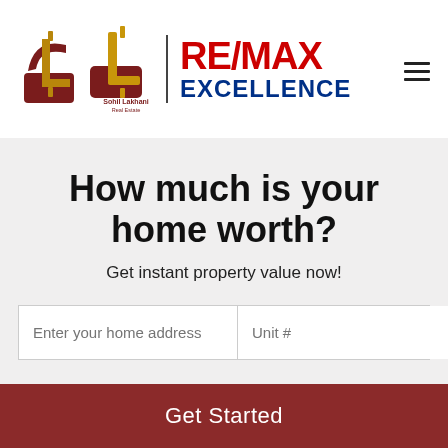[Figure (logo): Sohil Lakhani Real Estate logo with dollar-S monogram icon and RE/MAX EXCELLENCE text in red and blue]
How much is your home worth?
Get instant property value now!
Enter your home address | Unit #
Get Started